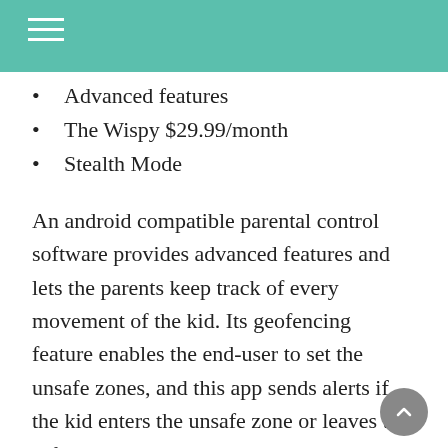Advanced features
The Wispy $29.99/month
Stealth Mode
An android compatible parental control software provides advanced features and lets the parents keep track of every movement of the kid. Its geofencing feature enables the end-user to set the unsafe zones, and this app sends alerts if the kid enters the unsafe zone or leaves the safe zone.
A commanding software allows gathering all the data from the target device stealthily.